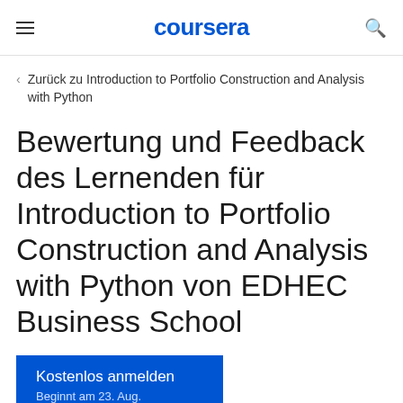coursera
Zurück zu Introduction to Portfolio Construction and Analysis with Python
Bewertung und Feedback des Lernenden für Introduction to Portfolio Construction and Analysis with Python von EDHEC Business School
Kostenlos anmelden
Beginnt am 23. Aug.